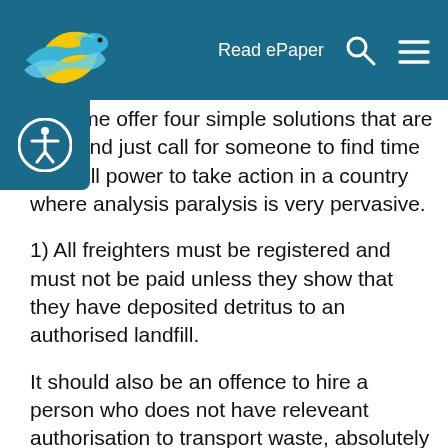Read ePaper
n, let me offer four simple solutions that are free, and just call for someone to find time and will power to take action in a country where analysis paralysis is very pervasive.
1) All freighters must be registered and must not be paid unless they show that they have deposited detritus to an authorised landfill.
It should also be an offence to hire a person who does not have releveant authorisation to transport waste, absolutely no person should hire any person who is not so registered or alternatively, it should be an offence for any person to transport waste without a permit from a registered landfill.
Therefore all person desirous of transporting waste